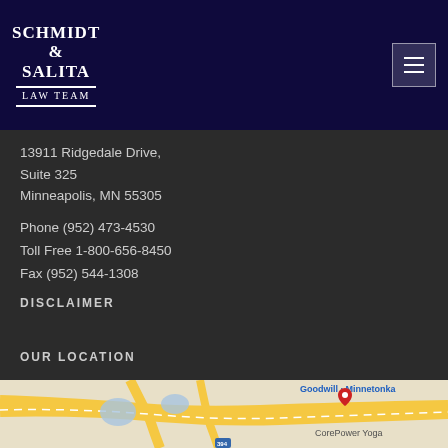SCHMIDT & SALITA LAW TEAM
13911 Ridgedale Drive,
Suite 325
Minneapolis, MN 55305
Phone (952) 473-4530
Toll Free 1-800-656-8450
Fax (952) 544-1308
DISCLAIMER
OUR LOCATION
[Figure (map): Google Maps view showing location near Minnetonka, with CorePower Yoga and Goodwill Minnetonka visible, road intersections and terrain shown]